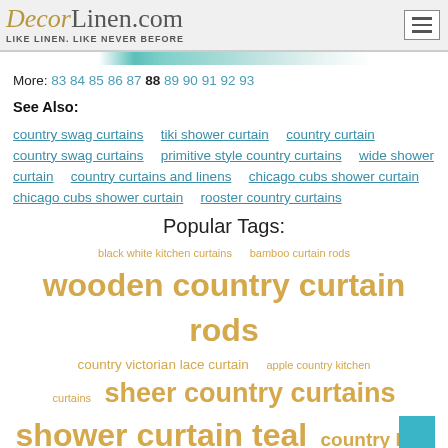DecorLinen.com - LIKE LINEN. LIKE NEVER BEFORE
[Figure (photo): Partial image strip showing teal/turquoise curtain fabric]
More: 83 84 85 86 87 88 89 90 91 92 93
See Also:
country swag curtains  tiki shower curtain  country curtain  country swag curtains  primitive style country curtains  wide shower curtain  country curtains and linens  chicago cubs shower curtain  chicago cubs shower curtain  rooster country curtains
Popular Tags:
black white kitchen curtains  bamboo curtain rods  wooden country curtain rods  country victorian lace curtain  apple country kitchen  curtains  sheer country curtains  shower curtain teal  country lace